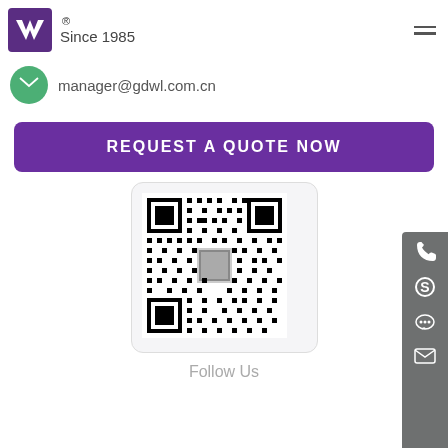[Figure (logo): Purple W logo with registered trademark symbol and 'Since 1985' text]
manager@gdwl.com.cn
REQUEST A QUOTE NOW
[Figure (other): QR code with a small product image in the center]
Follow Us